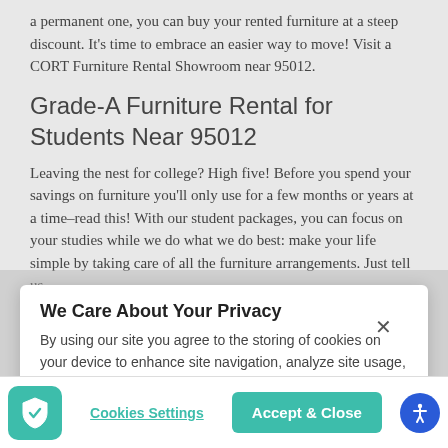a permanent one, you can buy your rented furniture at a steep discount. It's time to embrace an easier way to move! Visit a CORT Furniture Rental Showroom near 95012.
Grade-A Furniture Rental for Students Near 95012
Leaving the nest for college? High five! Before you spend your savings on furniture you'll only use for a few months or years at a time–read this! With our student packages, you can focus on your studies while we do what we do best: make your life simple by taking care of all the furniture arrangements. Just tell us
We Care About Your Privacy
By using our site you agree to the storing of cookies on your device to enhance site navigation, analyze site usage, and assist in our marketing efforts.  Privacy Policy
Cookies Settings
Accept & Close